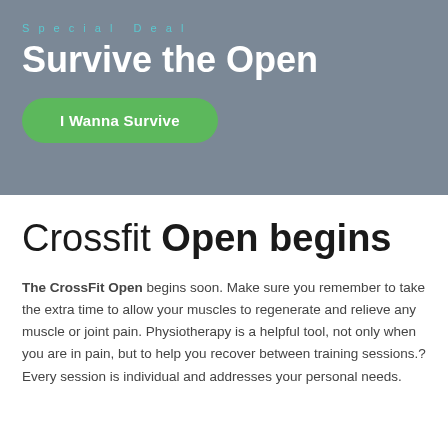Special Deal
Survive the Open
I Wanna Survive
Crossfit Open begins
The CrossFit Open begins soon. Make sure you remember to take the extra time to allow your muscles to regenerate and relieve any muscle or joint pain. Physiotherapy is a helpful tool, not only when you are in pain, but to help you recover between training sessions.?Every session is individual and addresses your personal needs.